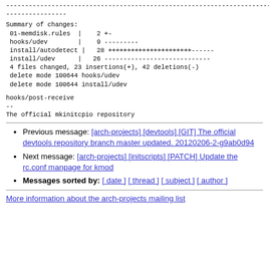------------------------------------------------------------------------
----------------
Summary of changes:
 01-memdisk.rules |    2 +-
 hooks/udev        |    9 ---------
 install/autodetect |   28 +++++++++++++++++++++------
 install/udev      |   26 ----------------------------
 4 files changed, 23 insertions(+), 42 deletions(-)
 delete mode 100644 hooks/udev
 delete mode 100644 install/udev
hooks/post-receive
--
The official mkinitcpio repository
Previous message: [arch-projects] [devtools] [GIT] The official devtools repository branch master updated. 20120206-2-g9ab0d94
Next message: [arch-projects] [initscripts] [PATCH] Update the rc.conf manpage for kmod
Messages sorted by: [ date ] [ thread ] [ subject ] [ author ]
More information about the arch-projects mailing list